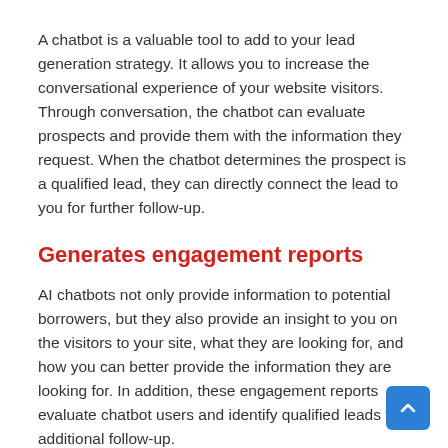A chatbot is a valuable tool to add to your lead generation strategy. It allows you to increase the conversational experience of your website visitors. Through conversation, the chatbot can evaluate prospects and provide them with the information they request. When the chatbot determines the prospect is a qualified lead, they can directly connect the lead to you for further follow-up.
Generates engagement reports
AI chatbots not only provide information to potential borrowers, but they also provide an insight to you on the visitors to your site, what they are looking for, and how you can better provide the information they are looking for. In addition, these engagement reports evaluate chatbot users and identify qualified leads for additional follow-up.